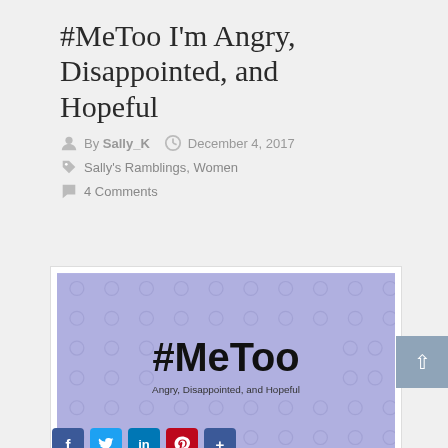#MeToo I'm Angry, Disappointed, and Hopeful
By Sally_K   December 4, 2017
Sally's Ramblings, Women
4 Comments
[Figure (illustration): Purple/lavender banner image with circle dot pattern background, large bold text '#MeToo' and subtitle 'Angry, Disappointed, and Hopeful']